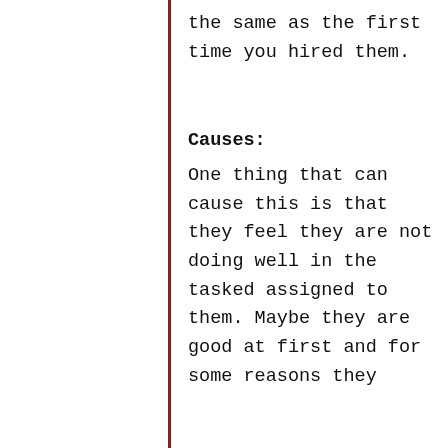the same as the first time you hired them.
Causes:
One thing that can cause this is that they feel they are not doing well in the tasked assigned to them. Maybe they are good at first and for some reasons they